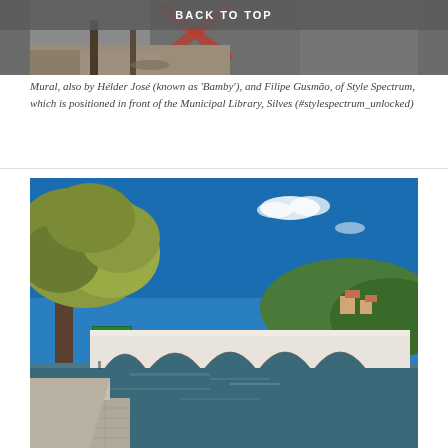[Figure (photo): Bottom portion of a mural with graffiti art, cobblestone ground visible, with a 'BACK TO TOP' navigation bar overlaid at the top]
Mural, also by Hélder José (known as 'Bamby'), and Filipe Gusmão, of Style Spectrum, which is positioned in front of the Municipal Library, Silves (#stylespectrum_unlocked)
[Figure (photo): A scenic view of a white Roman-style arched bridge over a calm river in Silves, Portugal, with a large tree on the left, green hills and buildings in the background, and a cobblestone walkway in the foreground under a bright blue sky.]